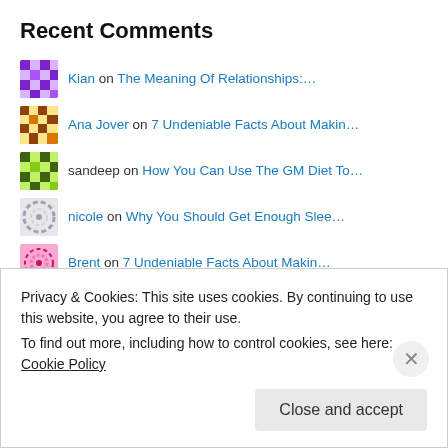Recent Comments
Kian on The Meaning Of Relationships:…
Ana Jover on 7 Undeniable Facts About Makin…
sandeep on How You Can Use The GM Diet To…
nicole on Why You Should Get Enough Slee…
Brent on 7 Undeniable Facts About Makin…
sethpickens on How To Roast Someone Without B…
Wekie on 5 Important Marketing Principl…
tsitsi muparari on 5 Important Marketing Principl…
tsitsi muparari on 5 Important Marketing Principl…
Wekie on If You Are Happy, You Are Wort…
Privacy & Cookies: This site uses cookies. By continuing to use this website, you agree to their use. To find out more, including how to control cookies, see here: Cookie Policy
Close and accept